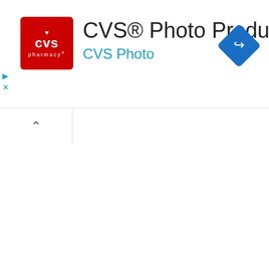[Figure (logo): CVS Pharmacy red square logo with heart symbol and CVS text]
CVS® Photo Products
CVS Photo
[Figure (other): Blue diamond navigation/directions icon with white right-turn arrow]
[Figure (other): Ad controls: play triangle and X close button in blue]
[Figure (other): Tab with chevron/up-arrow caret indicating collapsible panel]